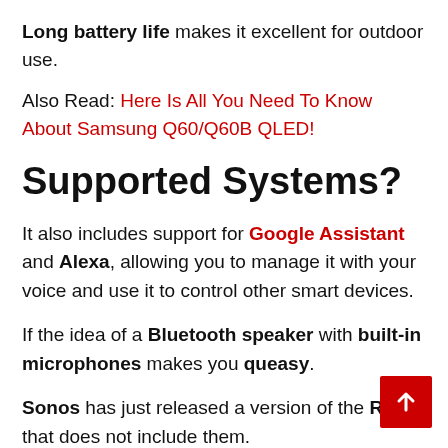Long battery life makes it excellent for outdoor use.
Also Read: Here Is All You Need To Know About Samsung Q60/Q60B QLED!
Supported Systems?
It also includes support for Google Assistant and Alexa, allowing you to manage it with your voice and use it to control other smart devices.
If the idea of a Bluetooth speaker with built-in microphones makes you queasy.
Sonos has just released a version of the Roam that does not include them.
The Sonos Roam SL has just slightly less...